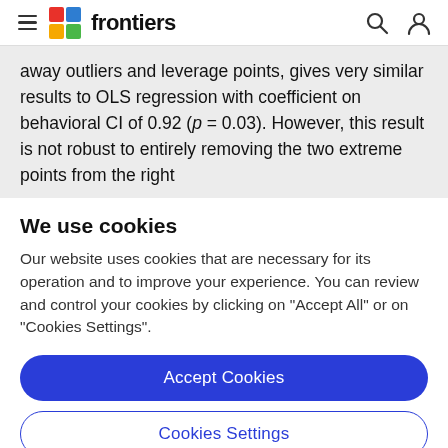frontiers
away outliers and leverage points, gives very similar results to OLS regression with coefficient on behavioral CI of 0.92 (p = 0.03). However, this result is not robust to entirely removing the two extreme points from the right
We use cookies
Our website uses cookies that are necessary for its operation and to improve your experience. You can review and control your cookies by clicking on "Accept All" or on "Cookies Settings".
Accept Cookies
Cookies Settings